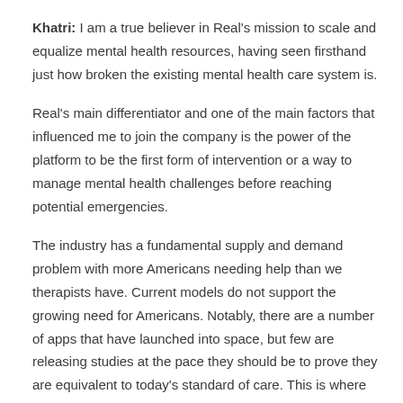Khatri: I am a true believer in Real's mission to scale and equalize mental health resources, having seen firsthand just how broken the existing mental health care system is.
Real's main differentiator and one of the main factors that influenced me to join the company is the power of the platform to be the first form of intervention or a way to manage mental health challenges before reaching potential emergencies.
The industry has a fundamental supply and demand problem with more Americans needing help than we therapists have. Current models do not support the growing need for Americans. Notably, there are a number of apps that have launched into space, but few are releasing studies at the pace they should be to prove they are equivalent to today's standard of care. This is where Real differs and will continue to differ, as we believe showing clinical data and impact will be the way to engage more Americans in different care